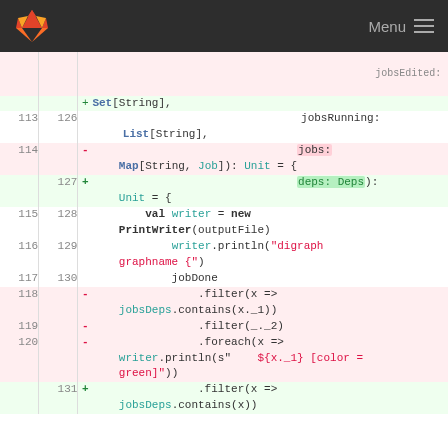GitLab navigation bar with logo and Menu
[Figure (screenshot): GitLab code diff view showing Scala code changes. Lines 112-131 of a file, with removed lines (pink background) and added lines (green background). The diff shows changes to function parameters: removing 'jobs: Map[String, Job]' and adding 'deps: Deps' parameter, and removing filter/foreach chain with jobsDeps.contains checks and writer.println for green colored nodes.]